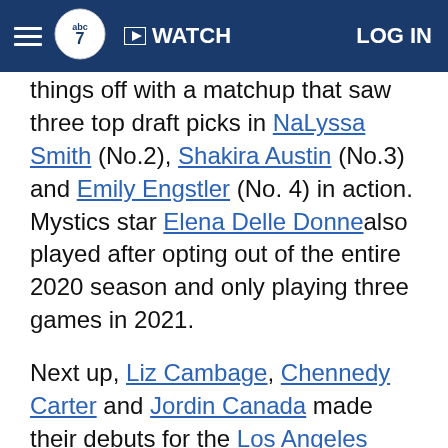abc7 | WATCH | LOG IN
things off with a matchup that saw three top draft picks in NaLyssa Smith (No.2), Shakira Austin (No.3) and Emily Engstler (No. 4) in action. Mystics star Elena Delle Donne also played after opting out of the entire 2020 season and only playing three games in 2021.
Next up, Liz Cambage, Chennedy Carter and Jordin Canada made their debuts for the Los Angeles Sparks against defending champion Chicago Sky, with hometown hero Candace Parker and 2021 Finals MVP Kahleah Copper. The Sky added another former Finals MVP in Emma Meesseman in the offseason.
Becky Hammon made her coaching debut for the Las